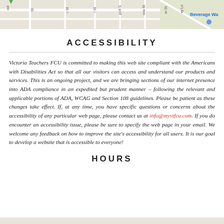[Figure (map): Partial street map visible at top of page, showing street grid with labels partially visible. Blue text 'Beverage Wa' visible at right.]
ACCESSIBILITY
Victoria Teachers FCU is committed to making this web site compliant with the Americans with Disabilities Act so that all our visitors can access and understand our products and services. This is an ongoing project, and we are bringing sections of our internet presence into ADA compliance in an expedited but prudent manner – following the relevant and applicable portions of ADA, WCAG and Section 108 guidelines. Please be patient as these changes take effect. If, at any time, you have specific questions or concerns about the accessibility of any particular web page, please contact us at info@myvtfcu.com. If you do encounter an accessibility issue, please be sure to specify the web page in your email. We welcome any feedback on how to improve the site's accessibility for all users. It is our goal to develop a website that is accessible to everyone!
HOURS